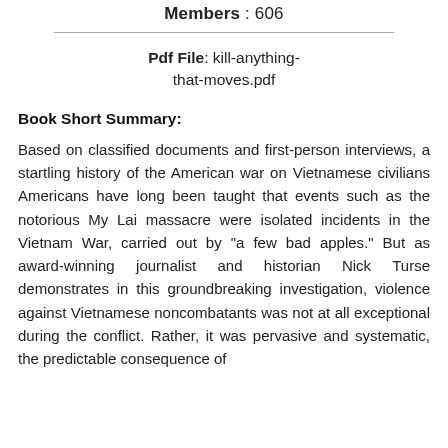Members : 606
Pdf File: kill-anything-that-moves.pdf
Book Short Summary:
Based on classified documents and first-person interviews, a startling history of the American war on Vietnamese civilians Americans have long been taught that events such as the notorious My Lai massacre were isolated incidents in the Vietnam War, carried out by "a few bad apples." But as award-winning journalist and historian Nick Turse demonstrates in this groundbreaking investigation, violence against Vietnamese noncombatants was not at all exceptional during the conflict. Rather, it was pervasive and systematic, the predictable consequence of